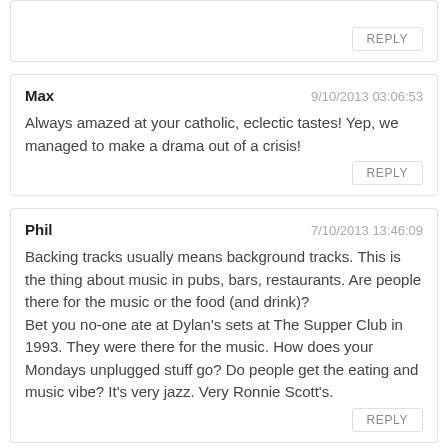REPLY
Max — 9/10/2013 03:06:53
Always amazed at your catholic, eclectic tastes! Yep, we managed to make a drama out of a crisis!
REPLY
Phil — 7/10/2013 13:46:09
Backing tracks usually means background tracks. This is the thing about music in pubs, bars, restaurants. Are people there for the music or the food (and drink)?
Bet you no-one ate at Dylan's sets at The Supper Club in 1993. They were there for the music. How does your Mondays unplugged stuff go? Do people get the eating and music vibe? It's very jazz. Very Ronnie Scott's.
REPLY
Max — 9/10/2013 03:10:37